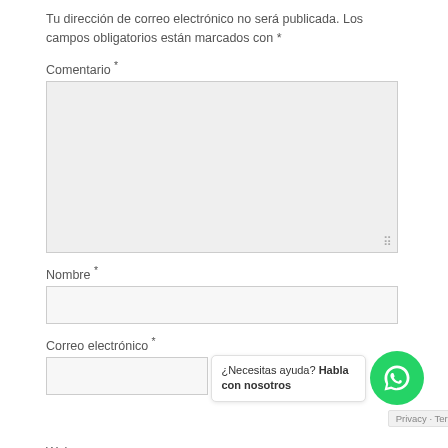Tu dirección de correo electrónico no será publicada. Los campos obligatorios están marcados con *
Comentario *
[Figure (screenshot): Large empty textarea input field with light grey background and resize handle in bottom right corner]
Nombre *
[Figure (screenshot): Single-line text input field with light grey background]
Correo electrónico *
[Figure (screenshot): Single-line text input field for email, with WhatsApp chat popup overlay showing '¿Necesitas ayuda? Habla con nosotros' and green WhatsApp icon button, and Privacy - Terms bar]
Web